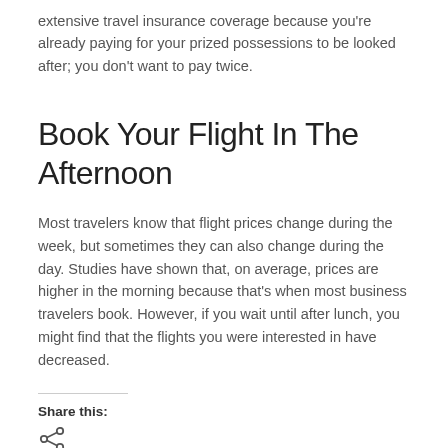extensive travel insurance coverage because you're already paying for your prized possessions to be looked after; you don't want to pay twice.
Book Your Flight In The Afternoon
Most travelers know that flight prices change during the week, but sometimes they can also change during the day. Studies have shown that, on average, prices are higher in the morning because that's when most business travelers book. However, if you wait until after lunch, you might find that the flights you were interested in have decreased.
Share this: